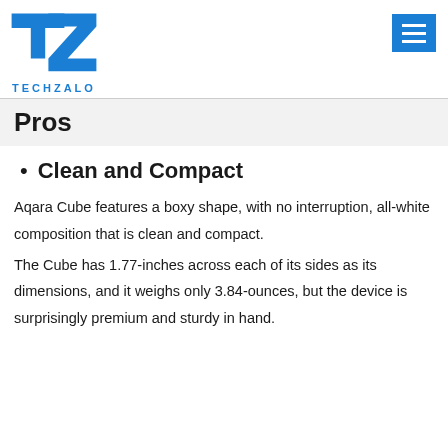TECHZALO
Pros
Clean and Compact
Aqara Cube features a boxy shape, with no interruption, all-white composition that is clean and compact.
The Cube has 1.77-inches across each of its sides as its dimensions, and it weighs only 3.84-ounces, but the device is surprisingly premium and sturdy in hand.